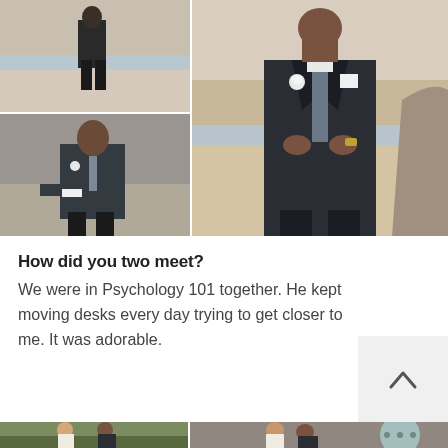[Figure (photo): Wedding photo collage: top-left shows a groom in dark suit standing on beach from behind; bottom-left shows groom adjusting cufflinks in dark suit with boutonniere; right (tall) shows groom in dark suit with grey tie and white boutonniere, buttoning jacket on beach]
How did you two meet?
We were in Psychology 101 together. He kept moving desks every day trying to get closer to me. It was adorable.
[Figure (photo): Bottom wedding photos: left shows bride and groom sitting together with greenery background; right shows couple about to kiss near rocky background with a teal circle menu overlay]